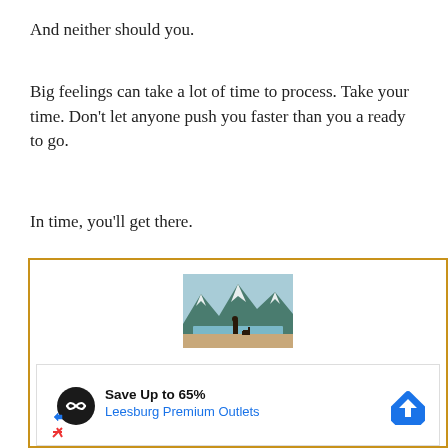And neither should you.
Big feelings can take a lot of time to process. Take your time. Don’t let anyone push you faster than you a ready to go.
In time, you’ll get there.
[Figure (photo): Advertisement box with orange border containing a photo of a person and dog standing before a mountain lake landscape, and a sub-ad for Leesburg Premium Outlets showing Save Up to 65%.]